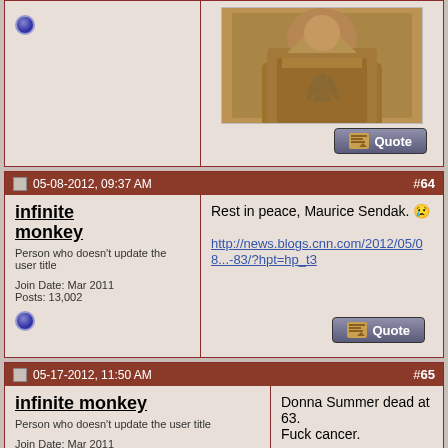[Figure (photo): Photo of a person in a brown jacket, cropped at top]
Quote button (top post)
05-08-2012, 09:37 AM   #64
infinite monkey
Person who doesn't update the user title
Join Date: Mar 2011
Posts: 13,002
Rest in peace, Maurice Sendak. 😢

http://news.blogs.cnn.com/2012/05/08...-83/?hpt=hp_t3
05-17-2012, 11:50 AM   #65
infinite monkey
Person who doesn't update the user title
Join Date: Mar 2011
Posts: 13,002
Donna Summer dead at 63. Fuck cancer.

Thanks for She Works Hard For the Money, Donna, it was an anthem for many of us 80s girls.

Already knows, she's seen her